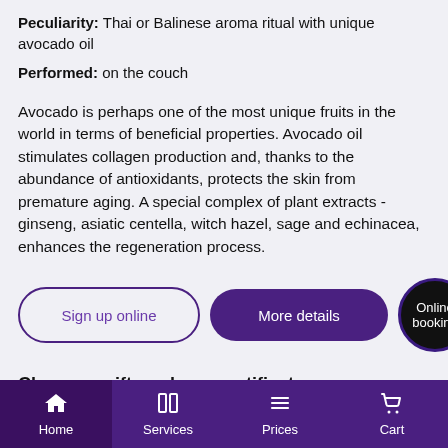Peculiarity: Thai or Balinese aroma ritual with unique avocado oil
Performed: on the couch
Avocado is perhaps one of the most unique fruits in the world in terms of beneficial properties. Avocado oil stimulates collagen production and, thanks to the abundance of antioxidants, protects the skin from premature aging. A special complex of plant extracts - ginseng, asiatic centella, witch hazel, sage and echinacea, enhances the regeneration process.
[Figure (other): Three buttons: 'Sign up online' (outlined pill button), 'More details' (filled purple pill button), 'Online booking' (black circle button with purple border)]
Choose a gift card or e-certificate
Buy a gift card    Buy an electronic certificate
Home | Services | Prices | Cart